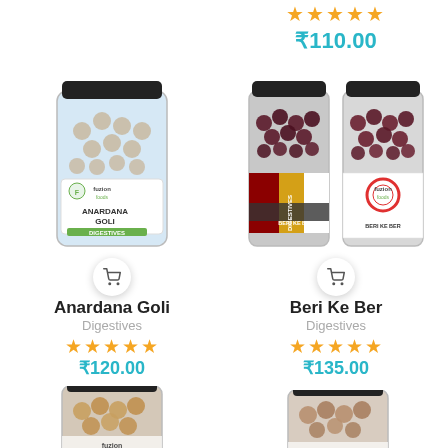[Figure (photo): Price and stars for a product (top right, partially visible) - rating 5 stars, price ₹110.00]
[Figure (photo): Fuzion Foods Anardana Goli Digestives product jar with shopping cart button]
[Figure (photo): Fuzion Foods Beri Ke Ber Digestives product jars (two jars) with shopping cart button]
Anardana Goli
Digestives
★★★★★
₹120.00
Beri Ke Ber
Digestives
★★★★★
₹135.00
[Figure (photo): Partially visible product jar at bottom left (Fuzion Foods)]
[Figure (photo): Partially visible product jar at bottom right (Fuzion Foods)]